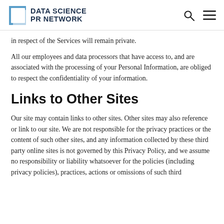DATA SCIENCE PR NETWORK
in respect of the Services will remain private.
All our employees and data processors that have access to, and are associated with the processing of your Personal Information, are obliged to respect the confidentiality of your information.
Links to Other Sites
Our site may contain links to other sites. Other sites may also reference or link to our site. We are not responsible for the privacy practices or the content of such other sites, and any information collected by these third party online sites is not governed by this Privacy Policy, and we assume no responsibility or liability whatsoever for the policies (including privacy policies), practices, actions or omissions of such third